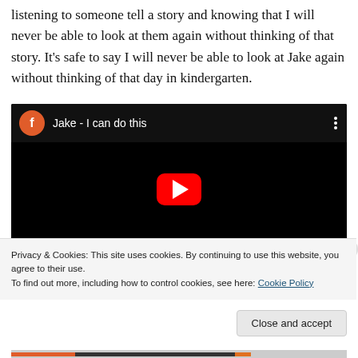listening to someone tell a story and knowing that I will never be able to look at them again without thinking of that story. It's safe to say I will never be able to look at Jake again without thinking of that day in kindergarten.
[Figure (screenshot): Embedded YouTube video player (black background) with orange 'f' avatar icon, title 'Jake - I can do this', three-dot menu, and YouTube play button (red rounded rectangle with white play triangle) in center of black video area.]
Privacy & Cookies: This site uses cookies. By continuing to use this website, you agree to their use.
To find out more, including how to control cookies, see here: Cookie Policy
Close and accept